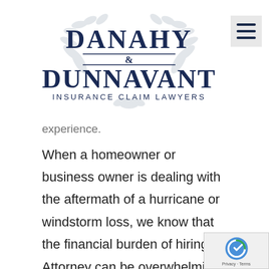[Figure (logo): Danahy & Dunnavant Insurance Claim Lawyers logo with laurel wreath emblem in navy blue]
experience.
When a homeowner or business owner is dealing with the aftermath of a hurricane or windstorm loss, we know that the financial burden of hiring an Attorney can be overwhelming. Therefore, we accept many cases on a contingency fee basis, which means we